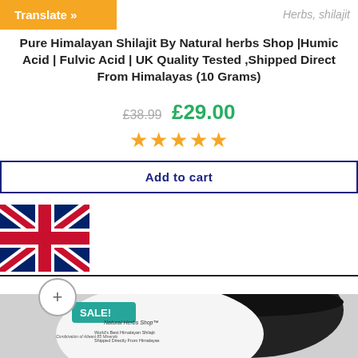Translate »
Herbs, shilajit
Pure Himalayan Shilajit By Natural herbs Shop |Humic Acid | Fulvic Acid | UK Quality Tested ,Shipped Direct From Himalayas (10 Grams)
£38.99  £29.00
★★★★★
Add to cart
[Figure (illustration): UK flag (Union Jack) in the left side]
[Figure (photo): Photo of a SALE! badge and product jar labeled Natural Herbs Shop TM, World's Best Himalayan Shilajit, Shipped Directly From Himalayas, with a dark jar open lid visible]